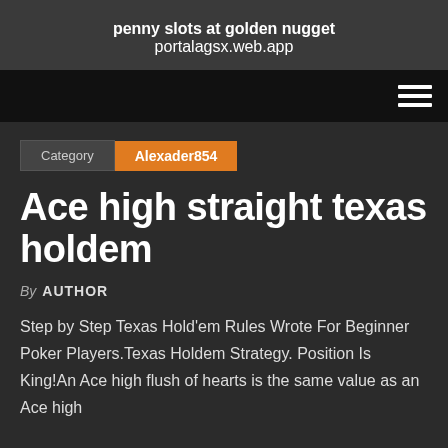penny slots at golden nugget
portalagsx.web.app
Category  Alexader854
Ace high straight texas holdem
By AUTHOR
Step by Step Texas Hold'em Rules Wrote For Beginner Poker Players.Texas Holdem Strategy. Position Is King!An Ace high flush of hearts is the same value as an Ace high